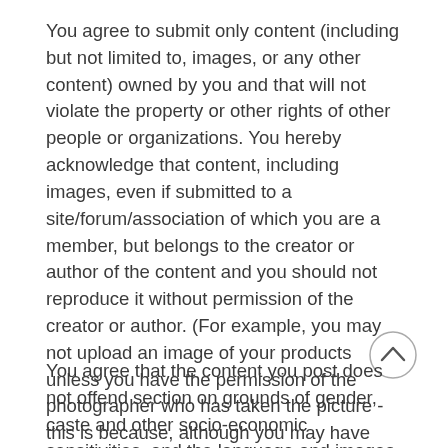You agree to submit only content (including but not limited to, images, or any other content) owned by you and that will not violate the property or other rights of other people or organizations. You hereby acknowledge that content, including images, even if submitted to a site/forum/association of which you are a member, but belongs to the creator or author of the content and you should not reproduce it without permission of the creator or author. (For example, you may not upload an image of your products unless you have the permission of the photographer who has taken the picture - this is because, although you may have physical ownership of the print or graphic file, the copyright is owned by the person who created the image.)
You agree that the content you post does not offend section on grounds of gender, caste and other socio-economic sensitivities, and the language and images